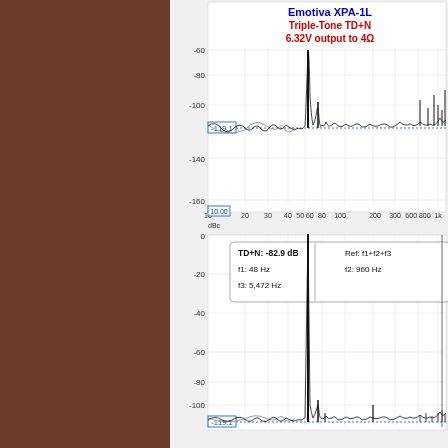[Figure (continuous-plot): Emotiva XPA-1L Triple-Tone TD+N spectrum analyzer plot, top panel showing noise floor at -119.1 dBc, frequency range 10Hz to 2kHz+, with signal peaks and harmonic distortion components. Title reads 'Emotiva XPA-1L Triple-Tone TD+N 6.32V output to 4 Ohm'.]
[Figure (continuous-plot): Bottom spectrum analyzer panel showing TD+N: -82.9 dB, Ref: f1+f2+f3, f1: 48 Hz, f2: 960 Hz, f3: 5,472 Hz. Y-axis from 0 to -119.1 dBc. Large fundamental spike near center, harmonics visible across spectrum.]